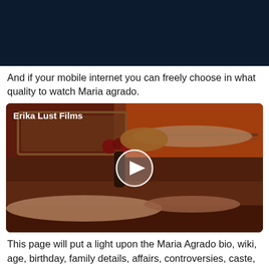[Figure (photo): Dark navy blue rectangle — top portion of a video thumbnail or banner image]
And if your mobile internet you can freely choose in what quality to watch Maria agrado.
[Figure (screenshot): Video thumbnail labeled 'Erika Lust Films' showing a massage scene with warm reddish-brown tones, flowers, and a play button overlay in the center]
This page will put a light upon the Maria Agrado bio, wiki, age, birthday, family details, affairs, controversies, caste, height, weight, rumors, lesser-known facts, and more.